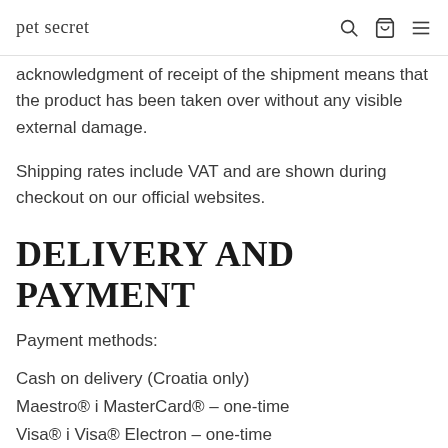pet secret
acknowledgment of receipt of the shipment means that the product has been taken over without any visible external damage.
Shipping rates include VAT and are shown during checkout on our official websites.
DELIVERY AND PAYMENT
Payment methods:
Cash on delivery (Croatia only)
Maestro® i MasterCard® – one-time
Visa® i Visa® Electron – one-time
Diners® i Discover® – one-time
JCB® – one-time